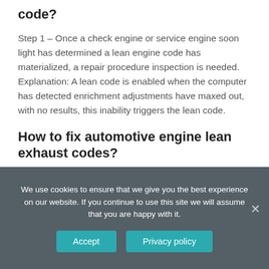code?
Step 1 – Once a check engine or service engine soon light has determined a lean engine code has materialized, a repair procedure inspection is needed. Explanation: A lean code is enabled when the computer has detected enrichment adjustments have maxed out, with no results, this inability triggers the lean code.
How to fix automotive engine lean exhaust codes?
We use cookies to ensure that we give you the best experience on our website. If you continue to use this site we will assume that you are happy with it.